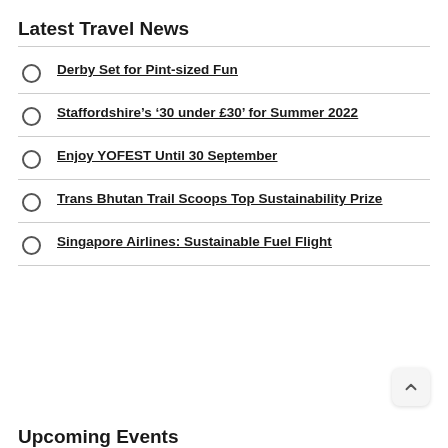Latest Travel News
Derby Set for Pint-sized Fun
Staffordshire’s ‘30 under £30’ for Summer 2022
Enjoy YOFEST Until 30 September
Trans Bhutan Trail Scoops Top Sustainability Prize
Singapore Airlines: Sustainable Fuel Flight
Upcoming Events